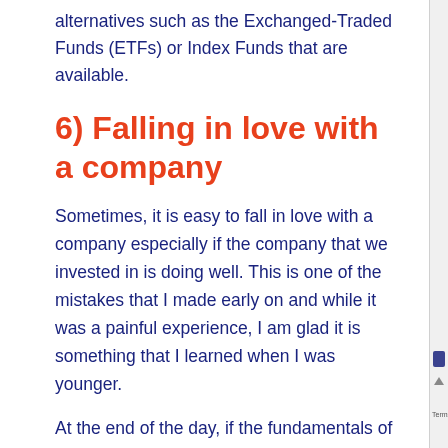alternatives such as the Exchanged-Traded Funds (ETFs) or Index Funds that are available.
6) Falling in love with a company
Sometimes, it is easy to fall in love with a company especially if the company that we invested in is doing well. This is one of the mistakes that I made early on and while it was a painful experience, I am glad it is something that I learned when I was younger.
At the end of the day, if the fundamentals of the company and its businesses change, consider selling the stock. Remember, you invest in the company because you believe in its sustainable growth. If this has changed, it is time to move on. You are not married to